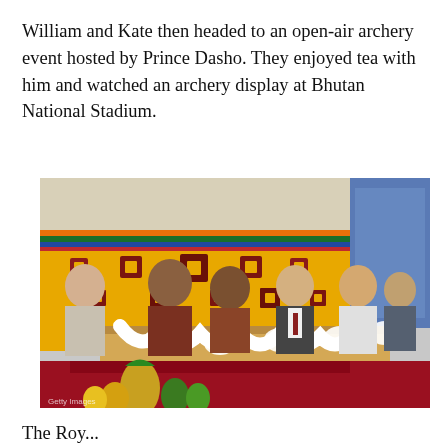William and Kate then headed to an open-air archery event hosted by Prince Dasho. They enjoyed tea with him and watched an archery display at Bhutan National Stadium.
[Figure (photo): Photo of William and Kate seated at a decorated table under a colorful tent with yellow fabric and Bhutanese decorations, alongside Prince Dasho and other guests at Bhutan National Stadium. A table with white cloth decorations, fruit including pineapple, and traditional Bhutanese decor is visible.]
The Royal...